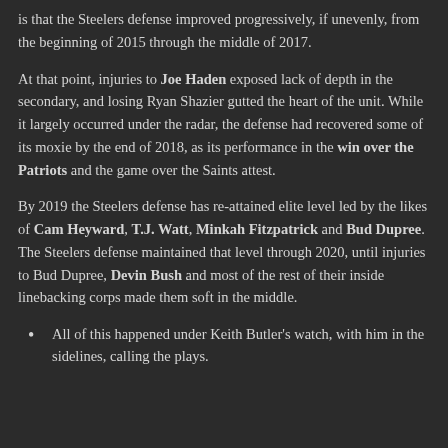is that the Steelers defense improved progressively, if unevenly, from the beginning of 2015 through the middle of 2017.
At that point, injuries to Joe Haden exposed lack of depth in the secondary, and losing Ryan Shazier gutted the heart of the unit. While it largely occurred under the radar, the defense had recovered some of its moxie by the end of 2018, as its performance in the win over the Patriots and the game over the Saints attest.
By 2019 the Steelers defense has re-attained elite level led by the likes of Cam Heyward, T.J. Watt, Minkah Fitzpatrick and Bud Dupree. The Steelers defense maintained that level through 2020, until injuries to Bud Dupree, Devin Bush and most of the rest of their inside linebacking corps made them soft in the middle.
All of this happened under Keith Butler's watch, with him in the sidelines, calling the plays.